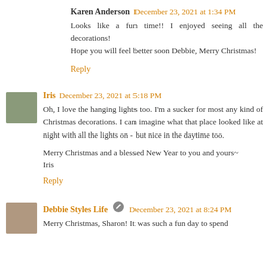Karen Anderson  December 23, 2021 at 1:34 PM
Looks like a fun time!! I enjoyed seeing all the decorations! Hope you will feel better soon Debbie, Merry Christmas!
Reply
[Figure (photo): Small avatar photo of Iris, an elderly woman]
Iris  December 23, 2021 at 5:18 PM
Oh, I love the hanging lights too. I'm a sucker for most any kind of Christmas decorations. I can imagine what that place looked like at night with all the lights on - but nice in the daytime too.

Merry Christmas and a blessed New Year to you and yours~
Iris
Reply
[Figure (photo): Small avatar photo of Debbie Styles Life, a woman with curly hair]
Debbie Styles Life  December 23, 2021 at 8:24 PM
Merry Christmas, Sharon! It was such a fun day to spend